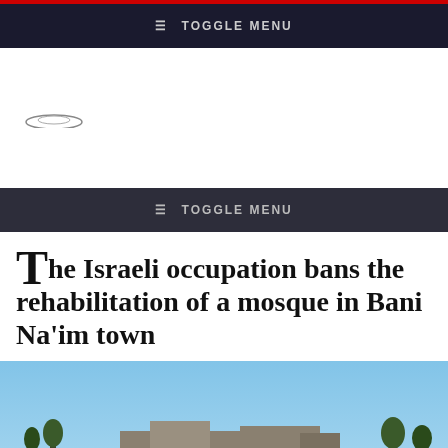≡ TOGGLE MENU
[Figure (logo): Website logo - small arc/dome shaped graphic]
≡ TOGGLE MENU
The Israeli occupation bans the rehabilitation of a mosque in Bani Na'im town
[Figure (photo): Exterior photo of a mosque or historic building in Bani Na'im town, with blue sky background and trees/structures in foreground]